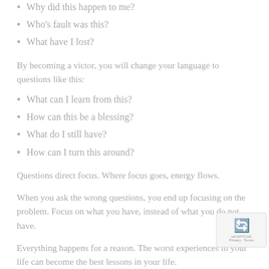Why did this happen to me?
Who's fault was this?
What have I lost?
By becoming a victor, you will change your language to questions like this:
What can I learn from this?
How can this be a blessing?
What do I still have?
How can I turn this around?
Questions direct focus. Where focus goes, energy flows.
When you ask the wrong questions, you end up focusing on the problem. Focus on what you have, instead of what you do not have.
Everything happens for a reason. The worst experiences in your life can become the best lessons in your life.